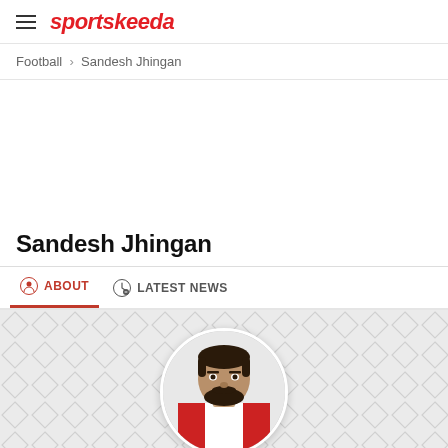sportskeeda
Football > Sandesh Jhingan
Sandesh Jhingan
ABOUT   LATEST NEWS
[Figure (photo): Circular profile photo of Sandesh Jhingan wearing a red and white jersey, with dark beard and hair, set against a light background with a diamond/rhombus pattern in grey]